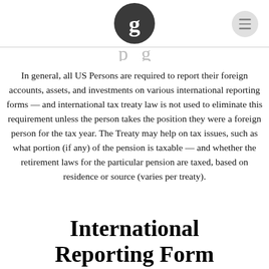Guardian logo and menu icon
In general, all US Persons are required to report their foreign accounts, assets, and investments on various international reporting forms — and international tax treaty law is not used to eliminate this requirement unless the person takes the position they were a foreign person for the tax year. The Treaty may help on tax issues, such as what portion (if any) of the pension is taxable — and whether the retirement laws for the particular pension are taxed, based on residence or source (varies per treaty).
International Reporting Form